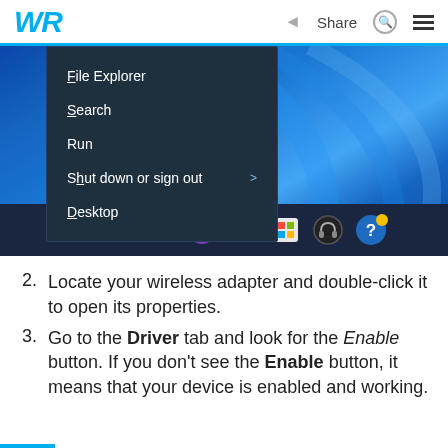WR  Share
[Figure (screenshot): Windows 11 desktop screenshot showing a right-click context menu with options: File Explorer, Search, Run, Shut down or sign out, Desktop. Below is the Windows 11 taskbar with Start button, Search, and app icons.]
Locate your wireless adapter and double-click it to open its properties.
Go to the Driver tab and look for the Enable button. If you don't see the Enable button, it means that your device is enabled and working.